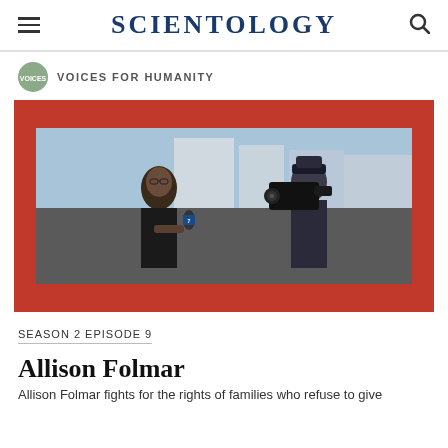SCIENTOLOGY
VOICES FOR HUMANITY
[Figure (photo): A Black woman in a black suit being interviewed by a cameraman outdoors in a city setting, with a red painted frame border around the photo.]
SEASON 2 EPISODE 9
Allison Folmar
Allison Folmar fights for the rights of families who refuse to give